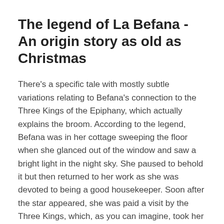The legend of La Befana - An origin story as old as Christmas
There's a specific tale with mostly subtle variations relating to Befana's connection to the Three Kings of the Epiphany, which actually explains the broom. According to the legend, Befana was in her cottage sweeping the floor when she glanced out of the window and saw a bright light in the night sky. She paused to behold it but then returned to her work as she was devoted to being a good housekeeper. Soon after the star appeared, she was paid a visit by the Three Kings, which, as you can imagine, took her quite by surprise! It seems they had wandered far from their path toward the humble stable in Bethlehem. They asked Befana for directions, told her they were following the star at the advice of royal astrologers and were intent on bringing gifts to honor the babe.